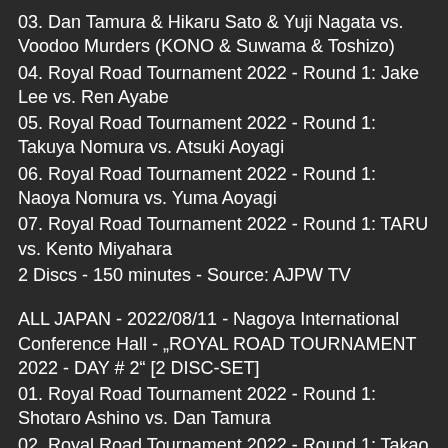03. Dan Tamura & Hikaru Sato & Yuji Nagata vs. Voodoo Murders (KONO & Suwama & Toshizo)
04. Royal Road Tournament 2022 - Round 1: Jake Lee vs. Ren Ayabe
05. Royal Road Tournament 2022 - Round 1: Takuya Nomura vs. Atsuki Aoyagi
06. Royal Road Tournament 2022 - Round 1: Naoya Nomura vs. Yuma Aoyagi
07. Royal Road Tournament 2022 - Round 1: TARU vs. Kento Miyahara
2 Discs - 150 minutes - Source: AJPW TV
ALL JAPAN - 2022/08/11 - Nagoya International Conference Hall - „ROYAL ROAD TOURNAMENT 2022 - DAY # 2“ [2 DISC-SET]
01. Royal Road Tournament 2022 - Round 1: Shotaro Ashino vs. Dan Tamura
02, Royal Road Tournament 2022 - Round 1: Takao Omori vs. Ryuki Honda
03. Black Menso-re & Hikaru Sato & Ryo Inoue vs.